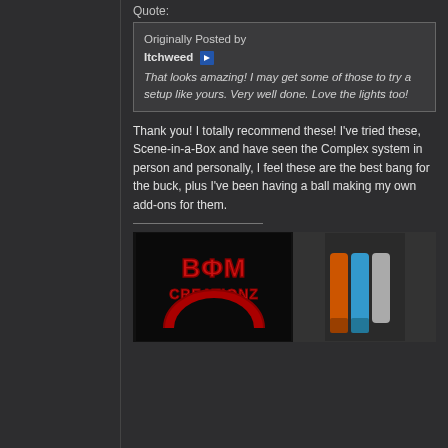Quote:
Originally Posted by Itchweed
That looks amazing! I may get some of those to try a setup like yours. Very well done. Love the lights too!
Thank you! I totally recommend these! I've tried these, Scene-in-a-Box and have seen the Complex system in person and personally, I feel these are the best bang for the buck, plus I've been having a ball making my own add-ons for them.
[Figure (logo): BOM Creationz logo in red on black background]
[Figure (photo): Partial photo showing colorful cylindrical objects (possibly filament spools) in orange, blue, and other colors]